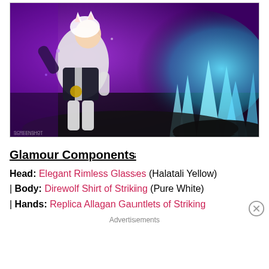[Figure (screenshot): Final Fantasy XIV game screenshot showing a female cat-ear character in black and white armor with glowing blue ice crystal effects and purple background]
Glamour Components
Head: Elegant Rimless Glasses (Halatali Yellow)
| Body: Direwolf Shirt of Striking (Pure White)
| Hands: Replica Allagan Gauntlets of Striking
Advertisements